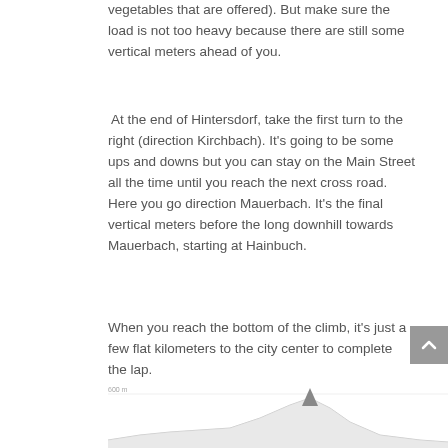vegetables that are offered). But make sure the load is not too heavy because there are still some vertical meters ahead of you.
At the end of Hintersdorf, take the first turn to the right (direction Kirchbach). It's going to be some ups and downs but you can stay on the Main Street all the time until you reach the next cross road. Here you go direction Mauerbach. It's the final vertical meters before the long downhill towards Mauerbach, starting at Hainbuch.
When you reach the bottom of the climb, it's just a few flat kilometers to the city center to complete the lap.
[Figure (continuous-plot): Partial elevation/route profile chart visible at bottom of page, showing terrain with a peak shape, y-axis label appears to show elevation around 600m]